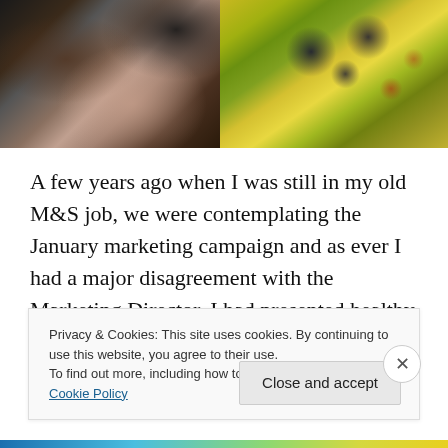[Figure (photo): Close-up photo of salmon or fish being cooked/prepared with dark sauce and garnish]
[Figure (photo): Close-up photo of a colorful fruit salad with kiwi, blueberries, melon chunks, and pomegranate seeds]
A few years ago when I was still in my old M&S job, we were contemplating the January marketing campaign and as ever I had a major disagreement with the Marketing Director. I had presented healthy eating, which was always peaking at this time of year. Great new soups, fruit salad,
Privacy & Cookies: This site uses cookies. By continuing to use this website, you agree to their use.
To find out more, including how to control cookies, see here: Cookie Policy
Close and accept